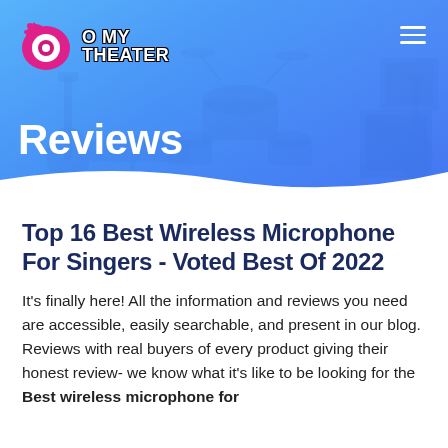[Figure (screenshot): O My Theater website header with logo, hamburger menu, blue gradient background with musical instruments (guitar, drum set, keyboard, amplifiers), and 'Reviews' section label in white bold text]
Top 16 Best Wireless Microphone For Singers - Voted Best Of 2022
It's finally here! All the information and reviews you need are accessible, easily searchable, and present in our blog. Reviews with real buyers of every product giving their honest review- we know what it's like to be looking for the Best wireless microphone for